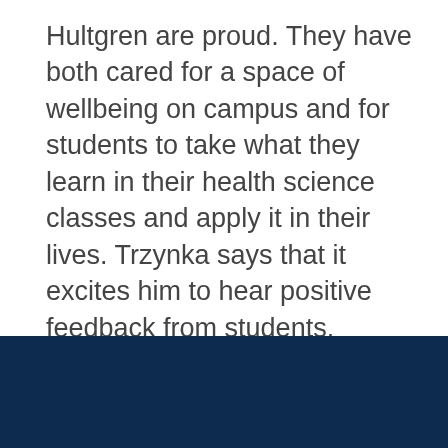Hultgren are proud. They have both cared for a space of wellbeing on campus and for students to take what they learn in their health science classes and apply it in their lives. Trzynka says that it excites him to hear positive feedback from students.
The next step? To tell more students about the updates so they can use it as a tool for their own, better well being.